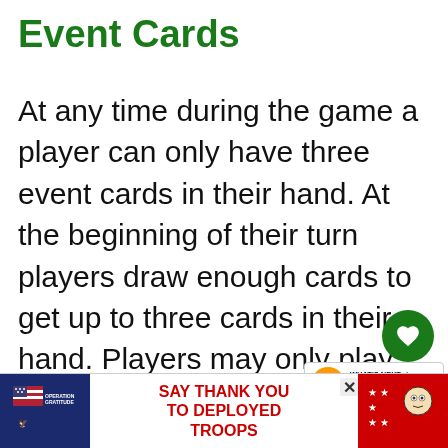Event Cards
At any time during the game a player can only have three event cards in their hand. At the beginning of their turn players draw enough cards to get up to three cards in their hand. Players may only play one card in each round (from the beginning of their turn to the beginning of their next turn). Players can choose to play a card at any time. Cards played in front of a player do not co[unt] towards a player's hand limit. At the end of a player's turn they can choose to discard one ca[rd] [optional].
[Figure (infographic): Green heart/like button circle overlay and share button circle overlay]
[Figure (infographic): What's Next banner with TV icon, showing Today's Complete T...]
[Figure (infographic): Operation Gratitude advertisement banner: SAY THANK YOU TO DEPLOYED TROOPS]